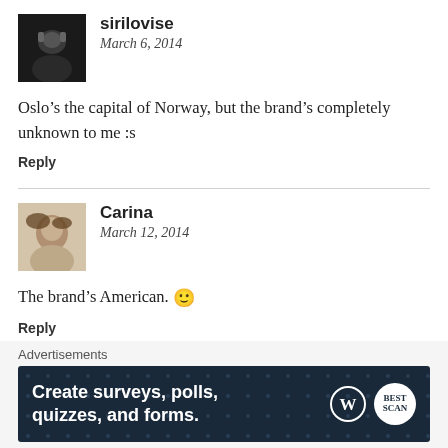[Figure (photo): Avatar photo of user sirilovise, dark image]
sirilovise
March 6, 2014
Oslo’s the capital of Norway, but the brand’s completely unknown to me :s
Reply
[Figure (photo): Avatar photo of user Carina, light brownish image]
Carina
March 12, 2014
The brand’s American. 🙂
Reply
Advertisements
[Figure (screenshot): Advertisement banner: Create surveys, polls, quizzes, and forms. WordPress and SurveyMonkey logos.]